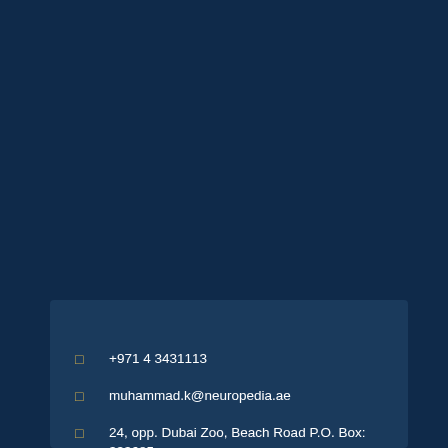+971 4 3431113
muhammad.k@neuropedia.ae
24, opp. Dubai Zoo, Beach Road P.O. Box: 333685,